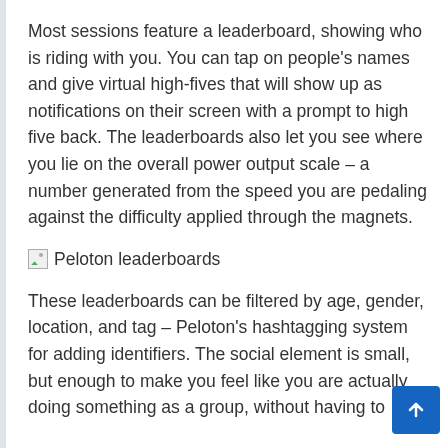Most sessions feature a leaderboard, showing who is riding with you. You can tap on people's names and give virtual high-fives that will show up as notifications on their screen with a prompt to high five back. The leaderboards also let you see where you lie on the overall power output scale – a number generated from the speed you are pedaling against the difficulty applied through the magnets.
[Figure (other): Placeholder image icon with alt text 'Peloton leaderboards']
These leaderboards can be filtered by age, gender, location, and tag – Peloton's hashtagging system for adding identifiers. The social element is small, but enough to make you feel like you are actually doing something as a group, without having to